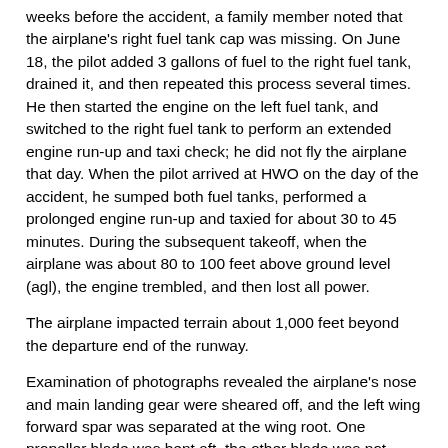weeks before the accident, a family member noted that the airplane's right fuel tank cap was missing. On June 18, the pilot added 3 gallons of fuel to the right fuel tank, drained it, and then repeated this process several times. He then started the engine on the left fuel tank, and switched to the right fuel tank to perform an extended engine run-up and taxi check; he did not fly the airplane that day. When the pilot arrived at HWO on the day of the accident, he sumped both fuel tanks, performed a prolonged engine run-up and taxied for about 30 to 45 minutes. During the subsequent takeoff, when the airplane was about 80 to 100 feet above ground level (agl), the engine trembled, and then lost all power.
The airplane impacted terrain about 1,000 feet beyond the departure end of the runway.
Examination of photographs revealed the airplane's nose and main landing gear were sheared off, and the left wing forward spar was separated at the wing root. One propeller blade was bent aft, the other blade was not damaged.
The wreckage was retained for further examination.